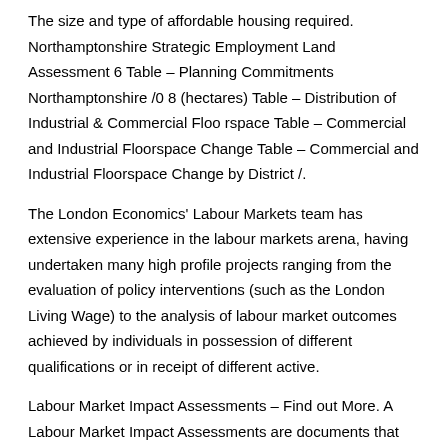The size and type of affordable housing required. Northamptonshire Strategic Employment Land Assessment 6 Table – Planning Commitments Northamptonshire /0 8 (hectares) Table – Distribution of Industrial & Commercial Floo rspace Table – Commercial and Industrial Floorspace Change Table – Commercial and Industrial Floorspace Change by District /.
The London Economics' Labour Markets team has extensive experience in the labour markets arena, having undertaken many high profile projects ranging from the evaluation of policy interventions (such as the London Living Wage) to the analysis of labour market outcomes achieved by individuals in possession of different qualifications or in receipt of different active.
Labour Market Impact Assessments – Find out More. A Labour Market Impact Assessments are documents that Canadian employers usually needs to obtain in order to employ a foreign national. It is the employer's responsibility to apply for the Labour Market Impact Assessment.
The behavior of the labor market is widely seen as the cause of the